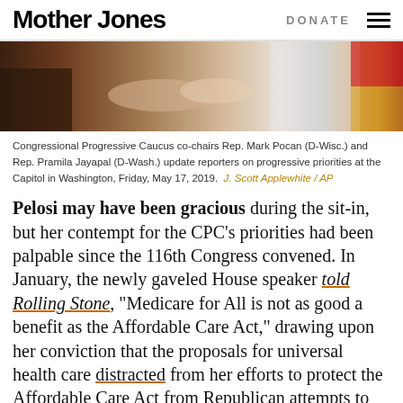Mother Jones   DONATE
[Figure (photo): Congressional Progressive Caucus co-chairs at the Capitol, hands clasped, with American flag visible in background]
Congressional Progressive Caucus co-chairs Rep. Mark Pocan (D-Wisc.) and Rep. Pramila Jayapal (D-Wash.) update reporters on progressive priorities at the Capitol in Washington, Friday, May 17, 2019.  J. Scott Applewhite / AP
Pelosi may have been gracious during the sit-in, but her contempt for the CPC's priorities had been palpable since the 116th Congress convened. In January, the newly gaveled House speaker told Rolling Stone, “Medicare for All is not as good a benefit as the Affordable Care Act,” drawing upon her conviction that the proposals for universal health care distracted from her efforts to protect the Affordable Care Act from Republican attempts to